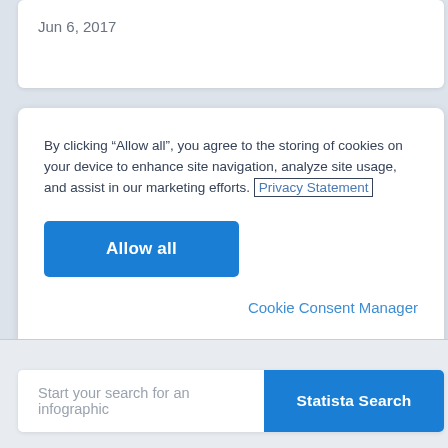Jun 6, 2017
By clicking “Allow all”, you agree to the storing of cookies on your device to enhance site navigation, analyze site usage, and assist in our marketing efforts. Privacy Statement
Allow all
Cookie Consent Manager
Start your search for an infographic
Statista Search